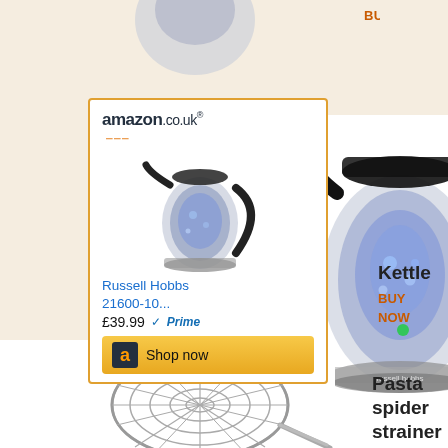BUY NOW
[Figure (photo): Amazon.co.uk advertisement showing a Russell Hobbs 21600-10 glass kettle with blue LED illumination, priced at £39.99 with Prime, Shop now button]
[Figure (photo): Large Russell Hobbs glass kettle with blue LED illumination, main product photo]
Kettle
BUY NOW
[Figure (photo): Wire pasta spider strainer/skimmer, circular mesh basket with long handle]
Pasta spider strainer